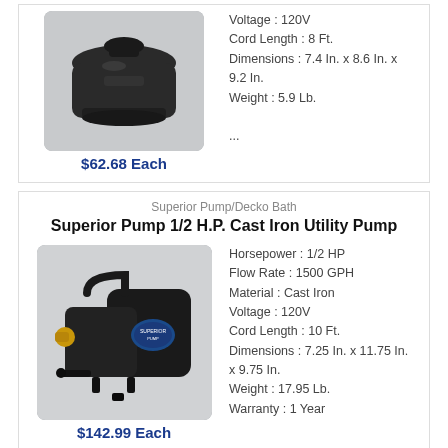[Figure (photo): Submersible pump product photo (dark/black pump unit, top portion visible)]
Voltage : 120V
Cord Length : 8 Ft.
Dimensions : 7.4 In. x 8.6 In. x 9.2 In.
Weight : 5.9 Lb.
...
$62.68 Each
Superior Pump/Decko Bath
Superior Pump 1/2 H.P. Cast Iron Utility Pump
[Figure (photo): Superior Pump cast iron utility pump product photo — black pump with brass fittings and blue logo badge]
Horsepower : 1/2 HP
Flow Rate : 1500 GPH
Material : Cast Iron
Voltage : 120V
Cord Length : 10 Ft.
Dimensions : 7.25 In. x 11.75 In. x 9.75 In.
Weight : 17.95 Lb.
Warranty : 1 Year
$142.99 Each